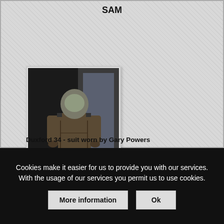SAM
[Figure (photo): Photo of a pressure suit (worn by Gary Powers) displayed in what appears to be a museum case at Duxford]
Duxford 34 - suit worn by Gary Powers
Cookies make it easier for us to provide you with our services. With the usage of our services you permit us to use cookies.
More information
Ok